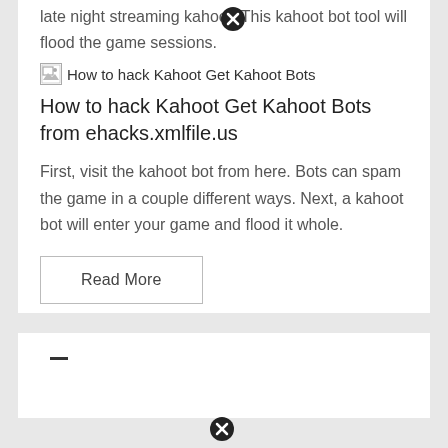late night streaming kahoot. This kahoot bot tool will flood the game sessions.
[Figure (illustration): Broken image placeholder icon followed by text 'How to hack Kahoot Get Kahoot Bots']
How to hack Kahoot Get Kahoot Bots from ehacks.xmlfile.us
First, visit the kahoot bot from here. Bots can spam the game in a couple different ways. Next, a kahoot bot will enter your game and flood it whole.
Read More
[Figure (other): Close/cancel button (X in circle) overlay at top center]
[Figure (other): Close/cancel button (X in circle) overlay at bottom center]